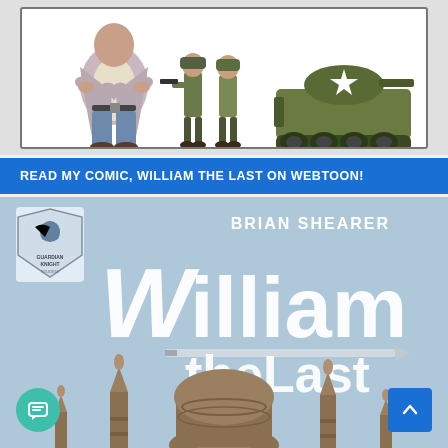[Figure (illustration): Comic art illustration showing characters including a large man in jacket and jeans, soldiers in military gear, and a green WWII-era tank with a white star on it, against a white background with a border.]
READ MY COMIC, WILLIAM THE LAST ON WEBTOON!
[Figure (illustration): Cover art for 'William the Last' comic by Brian Shearer, published by Guardian Knight Studios. Light blue background with large white stylized title text 'William the Last' with a sword graphic, architectural structures (mosque-like domes and minarets) in the foreground.]